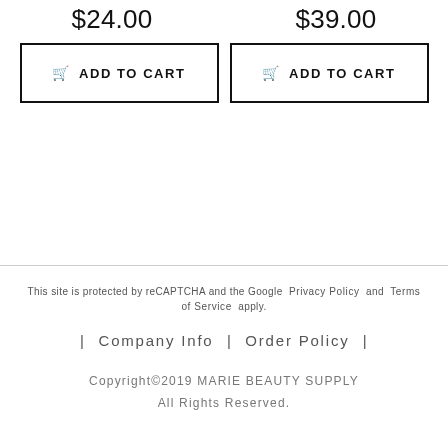$24.00
$39.00
ADD TO CART
ADD TO CART
This site is protected by reCAPTCHA and the Google Privacy Policy and Terms of Service apply. | Company Info | Order Policy | Copyright©2019 MARIE BEAUTY SUPPLY All Rights Reserved.